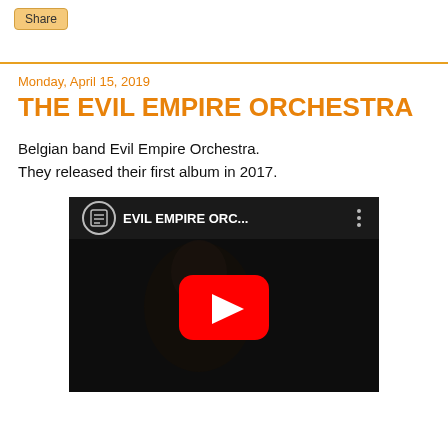Share
Monday, April 15, 2019
THE EVIL EMPIRE ORCHESTRA
Belgian band Evil Empire Orchestra.
They released their first album in 2017.
[Figure (screenshot): YouTube video thumbnail showing a dark scene with a man's face and a red YouTube play button overlay. Title bar reads 'EVIL EMPIRE ORC...' with a YouTube channel icon on the left.]